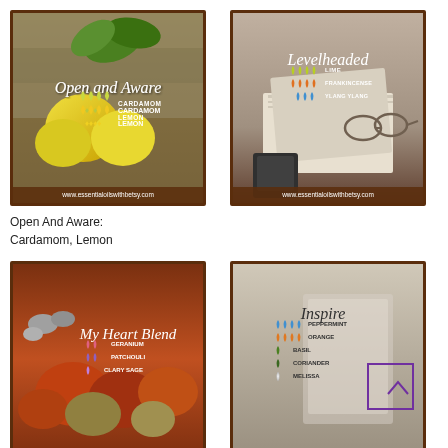[Figure (illustration): Essential oil blend card: Open and Aware, showing lemons with cardamom and lemon drops indicators, website www.essentialoilswithbetsy.com]
Open And Aware:
Cardamom, Lemon
[Figure (illustration): Essential oil blend card: Levelheaded, showing books and glasses with lime, frankincense, ylang ylang drop indicators, website www.essentialoilswithbetsy.com]
[Figure (illustration): Essential oil blend card: My Heart Blend, showing pumpkins with geranium, patchouli, clary sage drop indicators]
[Figure (illustration): Essential oil blend card: Inspire, showing peppermint, orange, basil, coriander, melissa drop indicators with purple rectangle overlay]